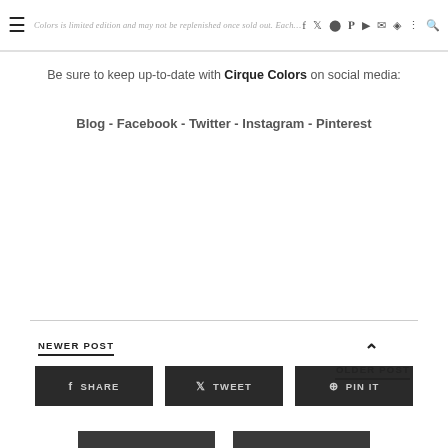Navigation bar with hamburger menu and social media icons
Be sure to keep up-to-date with Cirque Colors on social media:
Blog - Facebook - Twitter - Instagram - Pinterest
[Figure (infographic): Social share buttons: SHARE, TWEET, PIN IT, STUMBLE, GOOGLE+]
NEWER POST
OLDER POST